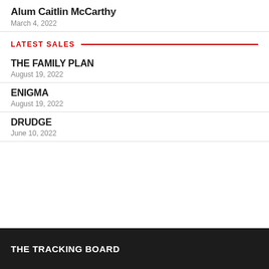Alum Caitlin McCarthy
March 4, 2022
LATEST SALES
THE FAMILY PLAN
August 19, 2022
ENIGMA
August 19, 2022
DRUDGE
June 10, 2022
THE TRACKING BOARD